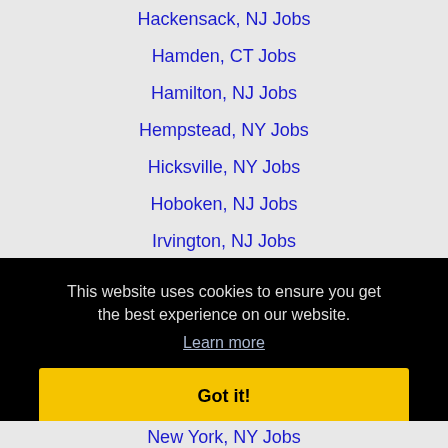Hackensack, NJ Jobs
Hamden, CT Jobs
Hamilton, NJ Jobs
Hempstead, NY Jobs
Hicksville, NY Jobs
Hoboken, NJ Jobs
Irvington, NJ Jobs
Jersey City, NJ Jobs
Lakewood, NJ Jobs
This website uses cookies to ensure you get the best experience on our website.
Learn more
Got it!
New York, NY Jobs